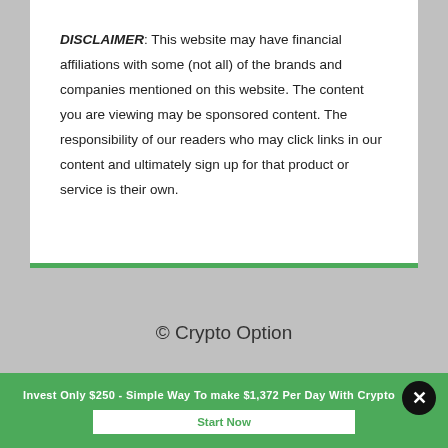DISCLAIMER: This website may have financial affiliations with some (not all) of the brands and companies mentioned on this website. The content you are viewing may be sponsored content. The responsibility of our readers who may click links in our content and ultimately sign up for that product or service is their own.
© Crypto Option
Invest Only $250 - Simple Way To make $1,372 Per Day With Crypto
Start Now